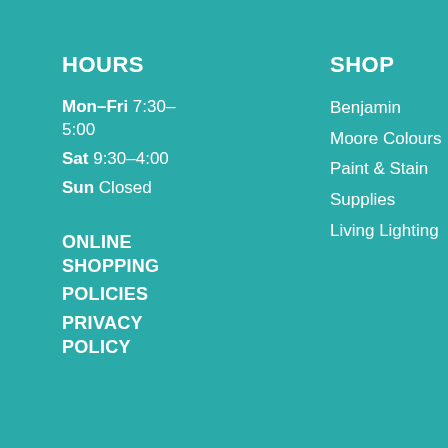HOURS
Mon–Fri 7:30–5:00
Sat 9:30–4:00
Sun Closed
ONLINE SHOPPING
POLICIES
PRIVACY POLICY
SHOP
Benjamin Moore Colours
Paint & Stain
Supplies
Living Lighting